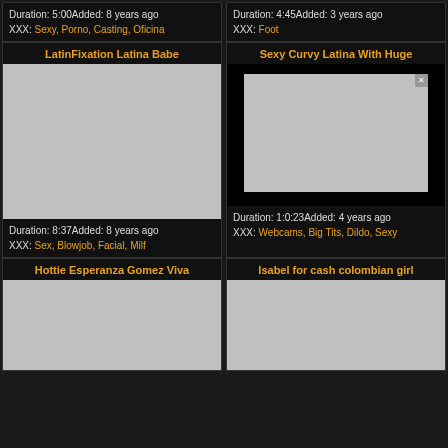Duration: 5:00Added: 8 years ago XXX: Sexy, Porno, Casting, Oficina
Duration: 4:45Added: 3 years ago XXX: Foot
LatinFixation Latina Babe
Sexy Curvy Latina With Huge
[Figure (photo): Video thumbnail placeholder (gray)]
[Figure (photo): Video thumbnail of woman on couch]
Duration: 8:37Added: 8 years ago XXX: Sex, Blowjob, Facial, Milf
Duration: 1:0:23Added: 4 years ago XXX: Webcams, Big Tits, Dildo, Sexy
Hottie Esperanza Gomez Viva
Isabel for cash colombian girl
[Figure (photo): Video thumbnail placeholder (gray)]
[Figure (photo): Video thumbnail placeholder (gray)]